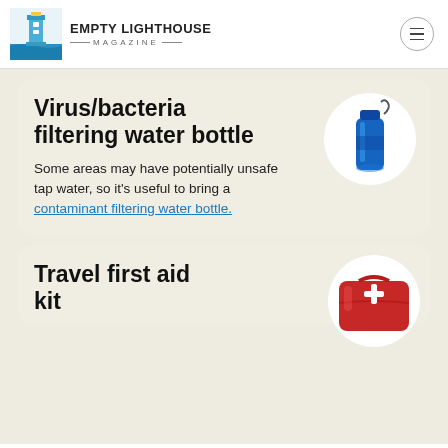EMPTY LIGHTHOUSE MAGAZINE
Virus/bacteria filtering water bottle
Some areas may have potentially unsafe tap water, so it's useful to bring a contaminant filtering water bottle.
[Figure (photo): Blue water bottle with filter on white circular background]
Travel first aid kit